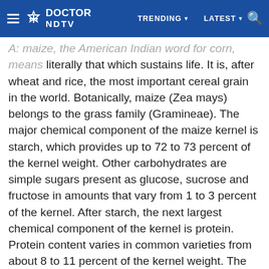Doctor NDTV — TRENDING | LATEST | Search
A: maize, the American Indian word for corn, means literally that which sustains life. It is, after wheat and rice, the most important cereal grain in the world. Botanically, maize (Zea mays) belongs to the grass family (Gramineae). The major chemical component of the maize kernel is starch, which provides up to 72 to 73 percent of the kernel weight. Other carbohydrates are simple sugars present as glucose, sucrose and fructose in amounts that vary from 1 to 3 percent of the kernel. After starch, the next largest chemical component of the kernel is protein. Protein content varies in common varieties from about 8 to 11 percent of the kernel weight. The oil content of the maize kernel comes mainly from the germ. Oil content is genetically controlled, with values ranging from 3 to 18 percent. Maize and other cereal grains constitute important sources of carbohydrates, proteins, vitamin B, and